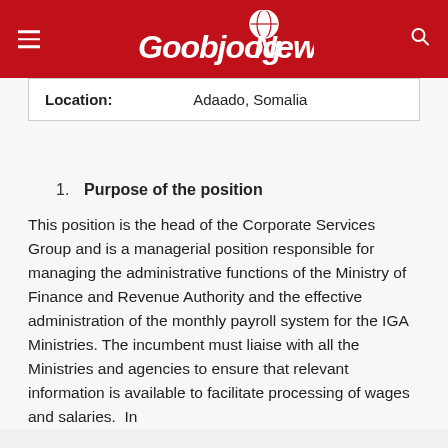Goobjoog News
| Location: | Adaado, Somalia |
1. Purpose of the position
This position is the head of the Corporate Services Group and is a managerial position responsible for managing the administrative functions of the Ministry of Finance and Revenue Authority and the effective administration of the monthly payroll system for the IGA Ministries. The incumbent must liaise with all the Ministries and agencies to ensure that relevant information is available to facilitate processing of wages and salaries.  In